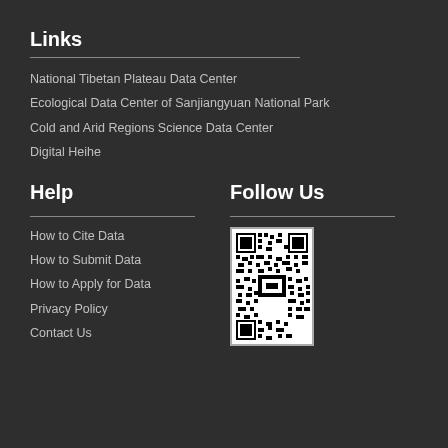Links
National Tibetan Plateau Data Center
Ecological Data Center of Sanjiangyuan National Park
Cold and Arid Regions Science Data Center
Digital Heihe
Help
How to Cite Data
How to Submit Data
How to Apply for Data
Privacy Policy
Contact Us
Follow Us
[Figure (other): QR code for following the organization]